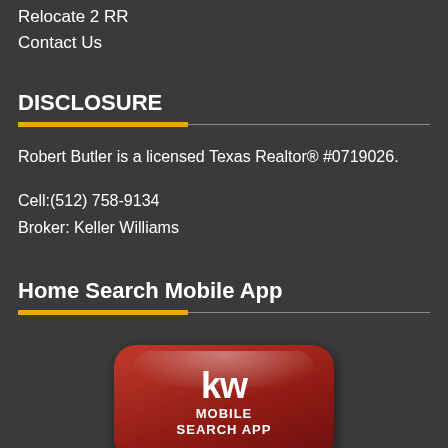Relocate 2 RR
Contact Us
DISCLOSURE
Robert Butler is a licensed Texas Realtor® #0719026.
Cell:(512) 758-9134
Broker: Keller Williams
Home Search Mobile App
[Figure (logo): Keller Williams mobile search app icon — red rounded square with white 'kw' text and 'MOBILE SEARCH APP' label]